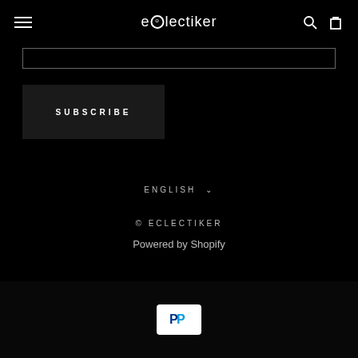eOlectiker
[Figure (screenshot): Email subscribe input field (empty, with border)]
SUBSCRIBE
ENGLISH ∨
© ECLECTIKER
Powered by Shopify
[Figure (logo): PayPal payment badge icon]